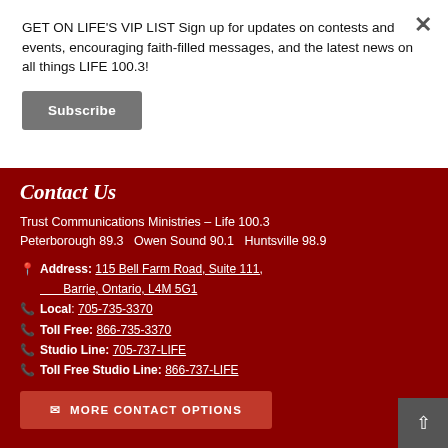GET ON LIFE'S VIP LIST Sign up for updates on contests and events, encouraging faith-filled messages, and the latest news on all things LIFE 100.3!
Subscribe
Contact Us
Trust Communications Ministries – Life 100.3
Peterborough 89.3   Owen Sound 90.1   Huntsville 98.9
Address: 115 Bell Farm Road, Suite 111, Barrie, Ontario, L4M 5G1
Local: 705-735-3370
Toll Free: 866-735-3370
Studio Line: 705-737-LIFE
Toll Free Studio Line: 866-737-LIFE
MORE CONTACT OPTIONS